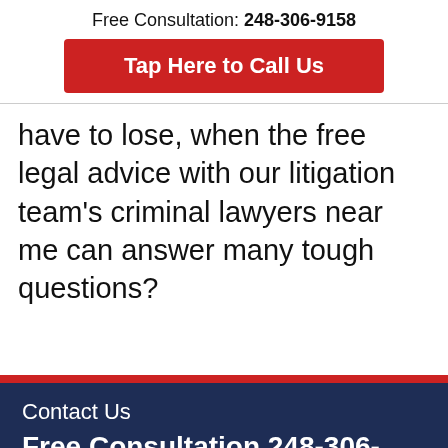Free Consultation: 248-306-9158
Tap Here to Call Us
have to lose, when the free legal advice with our litigation team's criminal lawyers near me can answer many tough questions?
Contact Us
Free Consultation 248-306-9158
First Name: (Required)